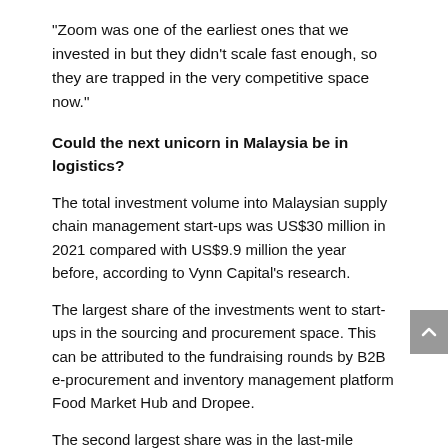“Zoom was one of the earliest ones that we invested in but they didn’t scale fast enough, so they are trapped in the very competitive space now.”
Could the next unicorn in Malaysia be in logistics?
The total investment volume into Malaysian supply chain management start-ups was US$30 million in 2021 compared with US$9.9 million the year before, according to Vynn Capital’s research.
The largest share of the investments went to start-ups in the sourcing and procurement space. This can be attributed to the fundraising rounds by B2B e-procurement and inventory management platform Food Market Hub and Dropee.
The second largest share was in the last-mile delivery segment, thanks to the acquisition of food delivery platform Delivereat by Teleport. Following that is the